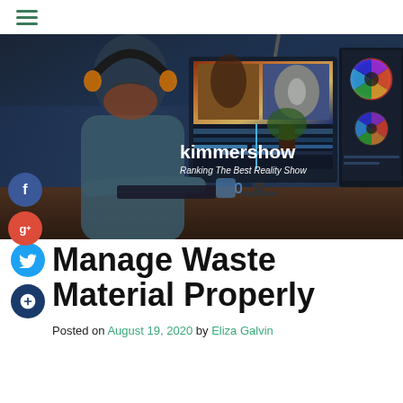kimmershow — Ranking The Best Reality Show
[Figure (photo): A person with headphones and glasses sitting at a desk editing video on dual monitors in a dark office environment. Overlaid with website branding: 'kimmershow — Ranking The Best Reality Show']
Manage Waste Material Properly
Posted on August 19, 2020 by Eliza Galvin